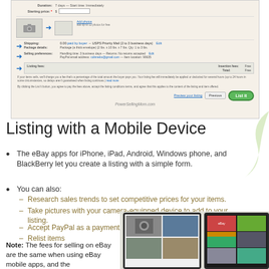[Figure (screenshot): eBay listing page screenshot showing shipping, package details, selling preferences, listing fees, and a green 'List It' button. Blue arrows point to key fields. Watermark: PowerSellingMom.com]
Listing with a Mobile Device
The eBay apps for iPhone, iPad, Android, Windows phone, and BlackBerry let you create a listing with a simple form.
You can also:
Research sales trends to set competitive prices for your items.
Take pictures with your camera-equipped device to add to your listing.
Accept PayPal as a payment method.
Relist items
Note: The fees for selling on eBay are the same when using eBay mobile apps, and the
[Figure (photo): Photo of tablet device showing eBay app with camera/product listings, and a second tablet showing clothing items in eBay app]